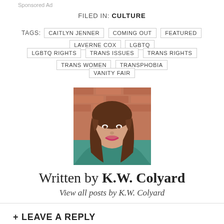Sponsored Ad
FILED IN: CULTURE
TAGS: CAITLYN JENNER  COMING OUT  FEATURED  LAVERNE COX  LGBTQ  LGBTQ RIGHTS  TRANS ISSUES  TRANS RIGHTS  TRANS WOMEN  TRANSPHOBIA  VANITY FAIR
[Figure (photo): Headshot photo of K.W. Colyard, a woman with long brown hair wearing a teal top, photographed against a brick wall background.]
Written by K.W. Colyard
View all posts by K.W. Colyard
+ LEAVE A REPLY